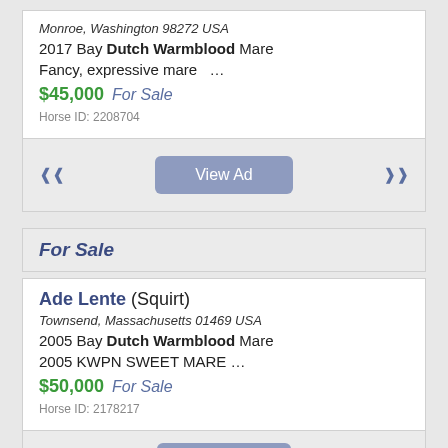Monroe, Washington 98272 USA
2017 Bay Dutch Warmblood Mare
Fancy, expressive mare  …
$45,000  For Sale
Horse ID: 2208704
View Ad
For Sale
Ade Lente (Squirt)
Townsend, Massachusetts 01469 USA
2005 Bay Dutch Warmblood Mare
2005 KWPN SWEET MARE …
$50,000  For Sale
Horse ID: 2178217
View Ad